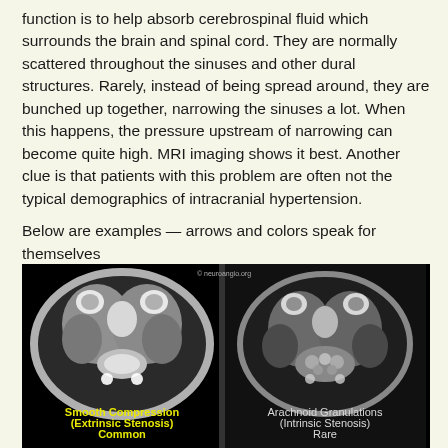function is to help absorb cerebrospinal fluid which surrounds the brain and spinal cord. They are normally scattered throughout the sinuses and other dural structures.  Rarely, instead of being spread around, they are bunched up together, narrowing the sinuses a lot.  When this happens, the pressure upstream of narrowing can become quite high.  MRI imaging shows it best.  Another clue is that patients with this problem are often not the typical demographics of intracranial hypertension.
Below are examples — arrows and colors speak for themselves
[Figure (photo): Two MRI brain cross-section images side by side on black background. Left image labeled 'Smooth Compression (Extrinsic Stenosis) Common' in yellow text. Right image labeled 'Arachnoid Granulations (Intrinsic Stenosis) Rare' in white text. Copyright watermark 'neuroangio.org' at top center.]